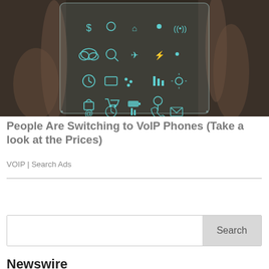[Figure (photo): Hands holding a transparent/glass smartphone displaying app icons including dollar sign, home, wifi, cloud, search, airplane, clock, shopping cart, battery, settings, lock, map pin, at symbol, phone, email, and other interface icons glowing in teal/cyan on a dark background.]
People Are Switching to VoIP Phones (Take a look at the Prices)
VOIP | Search Ads
[Figure (screenshot): Search bar with empty text input and a 'Search' button on the right side.]
Newswire